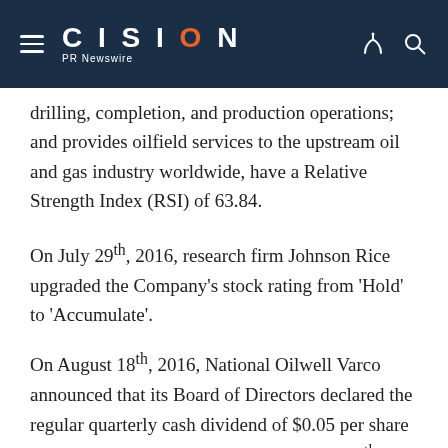CISION PR Newswire
drilling, completion, and production operations; and provides oilfield services to the upstream oil and gas industry worldwide, have a Relative Strength Index (RSI) of 63.84.
On July 29th, 2016, research firm Johnson Rice upgraded the Company's stock rating from 'Hold' to 'Accumulate'.
On August 18th, 2016, National Oilwell Varco announced that its Board of Directors declared the regular quarterly cash dividend of $0.05 per share of common stock, payable on September 30th, 2016, stockholder of record on September 16th, 2016. NOV